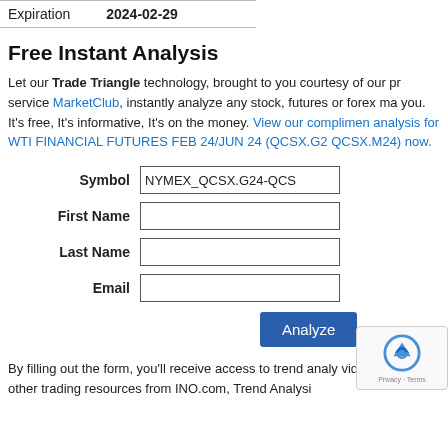| Expiration | 2024-02-29 |
| --- | --- |
Free Instant Analysis
Let our Trade Triangle technology, brought to you courtesy of our premium service MarketClub, instantly analyze any stock, futures or forex market for you. It's free, It's informative, It's on the money. View our complimentary analysis for WTI FINANCIAL FUTURES FEB 24/JUN 24 (QCSX.G24-QCSX.M24) now.
| Symbol | First Name | Last Name | Email |
| --- | --- | --- | --- |
| NYMEX_QCSX.G24-QCS |  |  |  |
By filling out the form, you'll receive access to trend analysis videos, and other trading resources from INO.com, Trend Analysis...